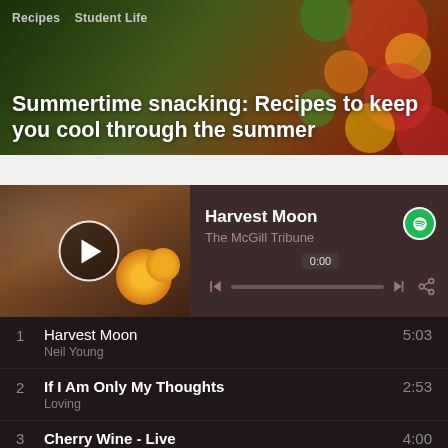[Figure (photo): Banner image with colorful fruits in the background, with dark overlay. Shows category tags 'Recipes · Student Life' and article title 'Summertime snacking: Recipes to keep you cool through the summer']
[Figure (screenshot): Spotify embedded music player showing 'Harvest Moon' playlist by The McGill Tribune. Includes album art, play button, progress bar at 0:00, skip and share controls.]
1  Harvest Moon
   Neil Young  5:03
2  If I Am Only My Thoughts
   Loving  2:53
3  Cherry Wine - Live
   Hozier  4:00
4  Moon Dude
   Jessica Pratt  3:40
5  Babooshka
   Kate Bush  3:29